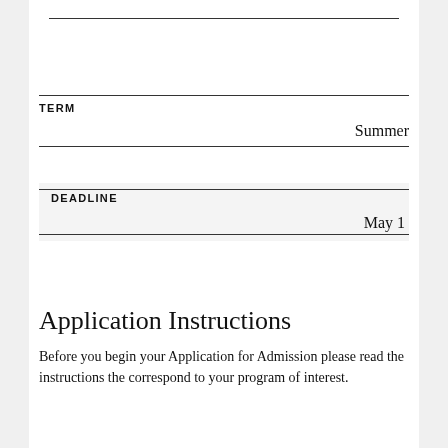| TERM |  |
| --- | --- |
|  | Summer |
| DEADLINE |  |
| --- | --- |
|  | May 1 |
Application Instructions
Before you begin your Application for Admission please read the instructions the correspond to your program of interest.